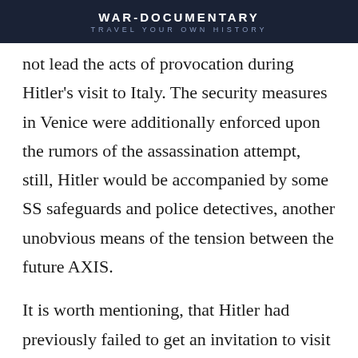WAR-DOCUMENTARY
TRAVEL YOUR OWN HISTORY
not lead the acts of provocation during Hitler's visit to Italy. The security measures in Venice were additionally enforced upon the rumors of the assassination attempt, still, Hitler would be accompanied by some SS safeguards and police detectives, another unobvious means of the tension between the future AXIS.
It is worth mentioning, that Hitler had previously failed to get an invitation to visit Rome from Mussolini in 1933, soon after his ‘rise to power’ in Germany. Venice at that time was chosen not so